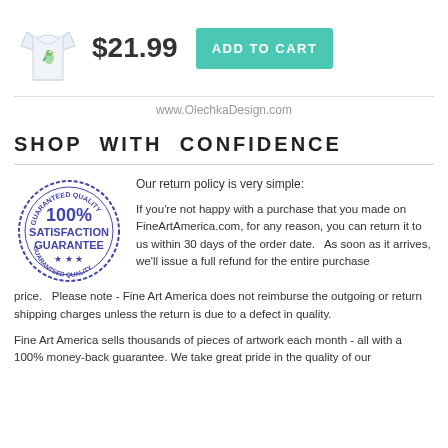[Figure (photo): White baby onesie product thumbnail with small colorful parrot/bird design]
$21.99
ADD TO CART
www.OlechkaDesign.com
SHOP WITH CONFIDENCE
[Figure (illustration): 100% Satisfaction Guarantee circular stamp seal in blue ink]
Our return policy is very simple:
If you're not happy with a purchase that you made on FineArtAmerica.com, for any reason, you can return it to us within 30 days of the order date.   As soon as it arrives, we'll issue a full refund for the entire purchase price.   Please note - Fine Art America does not reimburse the outgoing or return shipping charges unless the return is due to a defect in quality.
Fine Art America sells thousands of pieces of artwork each month - all with a 100% money-back guarantee. We take great pride in the quality of our